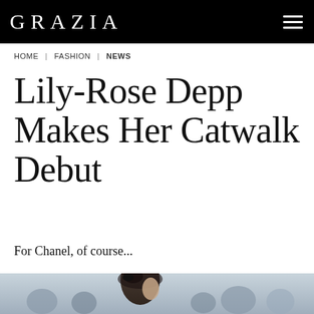GRAZIA
HOME | FASHION | NEWS
Lily-Rose Depp Makes Her Catwalk Debut
For Chanel, of course...
[Figure (photo): Photo of a young woman wearing a black veil hat at what appears to be a Chanel fashion show, with audience members visible in the background]